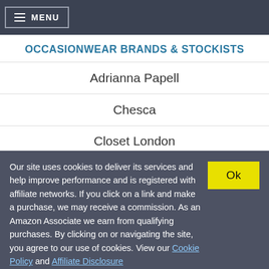MENU
OCCASIONWEAR BRANDS & STOCKISTS
Adrianna Papell
Chesca
Closet London
Our site uses cookies to deliver its services and help improve performance and is registered with affiliate networks. If you click on a link and make a purchase, we may receive a commission. As an Amazon Associate we earn from qualifying purchases. By clicking on or navigating the site, you agree to our use of cookies. View our Cookie Policy and Affiliate Disclosure